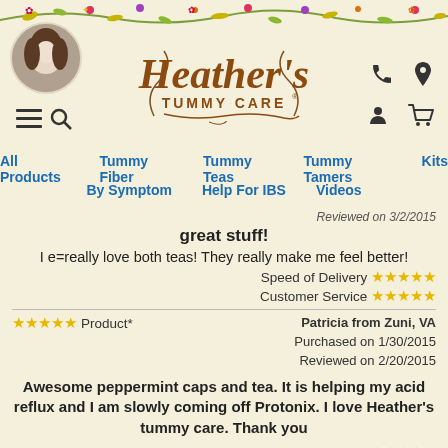Heather's Tummy Care - navigation header with floral border, profile photo, logo, nav links: All Products, Tummy Fiber, Tummy Teas, Tummy Tamers, Kits, By Symptom, Help For IBS, Videos
Reviewed on 3/2/2015
great stuff!
I e=really love both teas! They really make me feel better!
Speed of Delivery ★★★★★
Customer Service ★★★★★
★★★★★ Product*    Patricia from Zuni, VA
Purchased on 1/30/2015
Reviewed on 2/20/2015
Awesome peppermint caps and tea. It is helping my acid reflux and I am slowly coming off Protonix. I love Heather's tummy care. Thank you
Speed of Delivery ★★★★★
Customer Servi [TrustedSite]